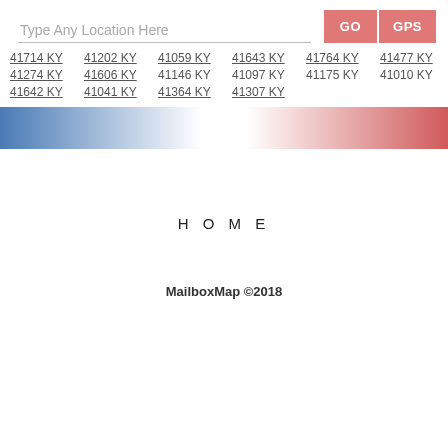Type Any Location Here  GO  GPS
41714 KY  41202 KY  41059 KY  41643 KY  41764 KY  41477 KY
41274 KY  41606 KY  41146 KY  41097 KY  41175 KY  41010 KY
41642 KY  41041 KY  41364 KY  41307 KY
[Figure (infographic): Horizontal gradient bar transitioning from blue on the left through white in the center to red on the right]
H O M E
MailboxMap ©2018